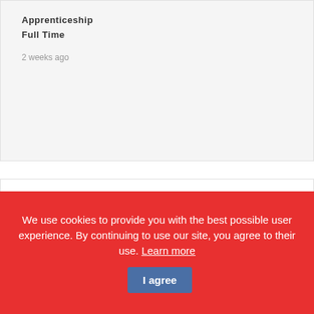Apprenticeship
Full Time
2 weeks ago
[Figure (logo): BMF Builders Merchants Federation logo with red house outline and blue bold letters BMF above text 'Builders Merchants Federation' with red underline]
We use cookies to provide you with the best possible user experience. By continuing to use our site, you agree to their use. Learn more  I agree